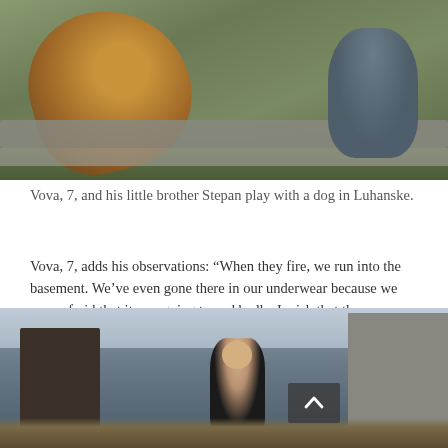[Figure (photo): Photograph of a golden/reddish dog standing on a concrete beam or seesaw-like structure outdoors on grass, with a child sitting on the right side of the beam in the background.]
Vova, 7, and his little brother Stepan play with a dog in Luhanske.
Vova, 7, adds his observations: “When they fire, we run into the basement. We’ve even gone there in our underwear because we were afraid that it was going to end badly. I wish that the war would end and never happened at all.”
[Figure (photo): Photograph of a smiling young child standing outdoors near a building and what appears to be a dark vehicle or barn, with a cat or small animal near the lower left.]